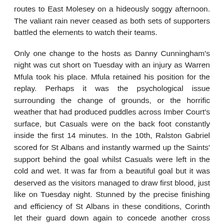routes to East Molesey on a hideously soggy afternoon. The valiant rain never ceased as both sets of supporters battled the elements to watch their teams.
Only one change to the hosts as Danny Cunningham's night was cut short on Tuesday with an injury as Warren Mfula took his place. Mfula retained his position for the replay. Perhaps it was the psychological issue surrounding the change of grounds, or the horrific weather that had produced puddles across Imber Court's surface, but Casuals were on the back foot constantly inside the first 14 minutes. In the 10th, Ralston Gabriel scored for St Albans and instantly warmed up the Saints' support behind the goal whilst Casuals were left in the cold and wet. It was far from a beautiful goal but it was deserved as the visitors managed to draw first blood, just like on Tuesday night. Stunned by the precise finishing and efficiency of St Albans in these conditions, Corinth let their guard down again to concede another cross where Gabriel was there again to smash home. A real shame to let in two scrappy goals, Casuals looked for redemption in the remainder of the half. Decent midfield link-up produced opportunities here and there, but nothing to get the crowd excited about. Mu Maan hammered a free-kick into the wall whilst Mfula wiggled his way past yellow shirts on multiple occasions, but